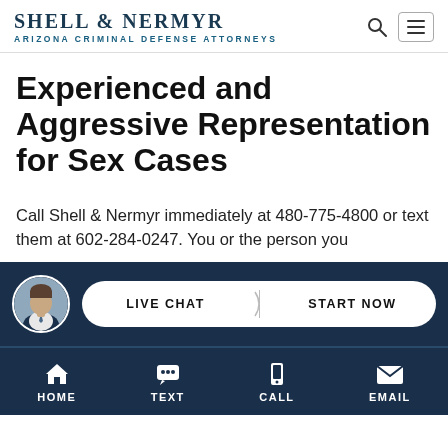SHELL & NERMYR ARIZONA CRIMINAL DEFENSE ATTORNEYS
Experienced and Aggressive Representation for Sex Cases
Call Shell & Nermyr immediately at 480-775-4800 or text them at 602-284-0247. You or the person you
[Figure (screenshot): Live chat widget with avatar photo of attorney and pill-shaped button reading LIVE CHAT | START NOW on dark navy background]
HOME TEXT CALL EMAIL